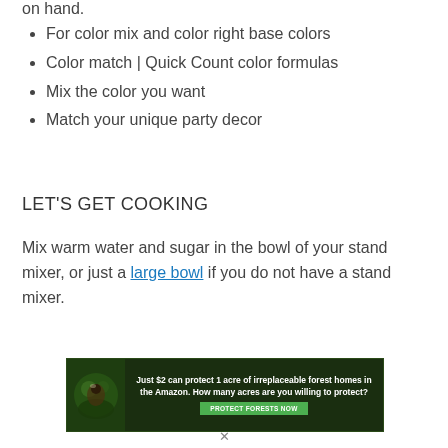on hand.
For color mix and color right base colors
Color match | Quick Count color formulas
Mix the color you want
Match your unique party decor
LET'S GET COOKING
Mix warm water and sugar in the bowl of your stand mixer, or just a large bowl if you do not have a stand mixer.
[Figure (other): Advertisement banner with dark green forest background. Text reads: Just $2 can protect 1 acre of irreplaceable forest homes in the Amazon. How many acres are you willing to protect? Button: PROTECT FORESTS NOW]